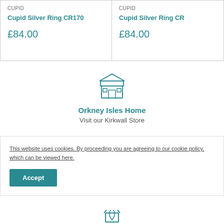CUPID
Cupid Silver Ring CR170
£84.00
CUPID
Cupid Silver Ring CR...
£84.00
[Figure (illustration): Store/shop front icon in teal outline style]
Orkney Isles Home
Visit our Kirkwall Store
[Figure (illustration): Gift box icon in teal outline style with diagonal stripes]
This website uses cookies. By proceeding you are agreeing to our cookie policy, which can be viewed here.
[Figure (illustration): Leaf/eco icon in teal outline style, partially visible]